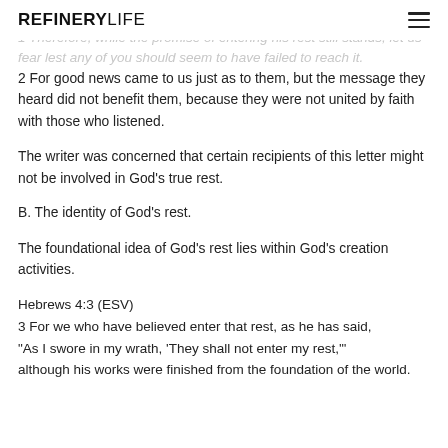REFINERYLIFE
1 Therefore, while the promise of entering his rest still stands, let us fear lest any of you should seem to have failed to reach it.
2 For good news came to us just as to them, but the message they heard did not benefit them, because they were not united by faith with those who listened.
The writer was concerned that certain recipients of this letter might not be involved in God’s true rest.
B. The identity of God’s rest.
The foundational idea of God’s rest lies within God’s creation activities.
Hebrews 4:3 (ESV)
3 For we who have believed enter that rest, as he has said,
“As I swore in my wrath, ‘They shall not enter my rest,’”
although his works were finished from the foundation of the world.